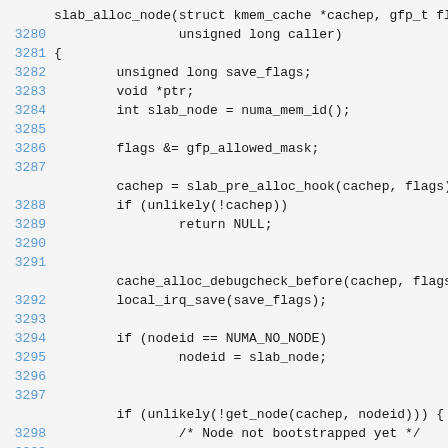slab_alloc_node(struct kmem_cache *cachep, gfp_t flags,
3280                unsigned long caller)
3281 {
3282         unsigned long save_flags;
3283         void *ptr;
3284         int slab_node = numa_mem_id();
3285
3286         flags &= gfp_allowed_mask;
3287
         cachep = slab_pre_alloc_hook(cachep, flags);
3288         if (unlikely(!cachep))
3289                 return NULL;
3290
3291
         cache_alloc_debugcheck_before(cachep, flags);
3292         local_irq_save(save_flags);
3293
3294         if (nodeid == NUMA_NO_NODE)
3295                 nodeid = slab_node;
3296
3297
         if (unlikely(!get_node(cachep, nodeid))) {
3298                 /* Node not bootstrapped yet */
3299
                 ptr = fallback_alloc(cachep, flags);